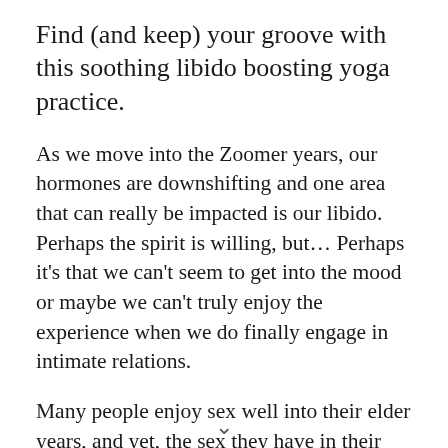Find (and keep) your groove with this soothing libido boosting yoga practice.
As we move into the Zoomer years, our hormones are downshifting and one area that can really be impacted is our libido. Perhaps the spirit is willing, but… Perhaps it’s that we can’t seem to get into the mood or maybe we can’t truly enjoy the experience when we do finally engage in intimate relations.
Many people enjoy sex well into their elder years, and yet, the sex they have in their later years is more enjoyable than ever! What is their secret?